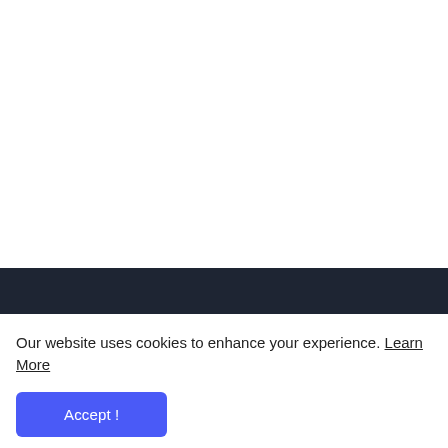Our website uses cookies to enhance your experience. Learn More
Accept !